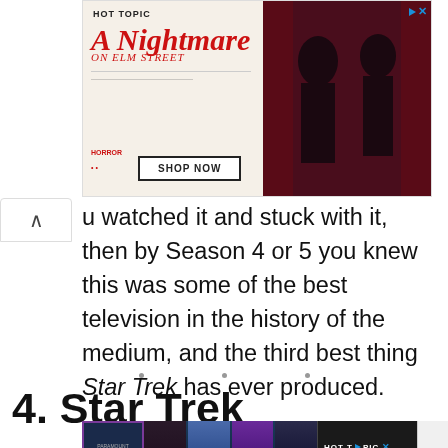[Figure (photo): Hot Topic advertisement banner for 'A Nightmare on Elm Street' merchandise featuring two models in horror-themed clothing with SHOP NOW button]
u watched it and stuck with it, then by Season 4 or 5 you knew this was some of the best television in the history of the medium, and the third best thing Star Trek has ever produced.
4. Star Trek
[Figure (photo): Bottom portion of a Star Trek related image/slideshow with navigation dots and a Hot Topic advertisement overlay]